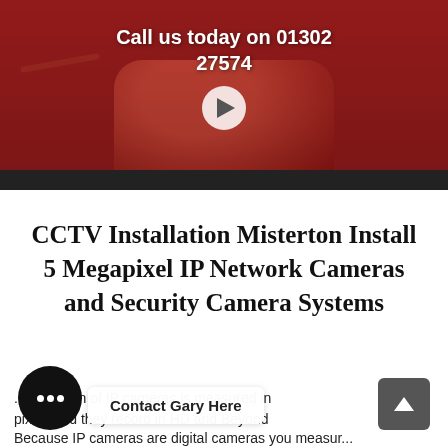[Figure (screenshot): Red vintage telephone with video player overlay showing text 'Call us today on 01302 27574' and a play button]
CCTV Installation Misterton Install 5 Megapixel IP Network Cameras and Security Camera Systems
...resolution of IP cameras is measured in pixels and they record in HD and Beyond
Because IP cameras are digital cameras you measur...
Contact Gary Here